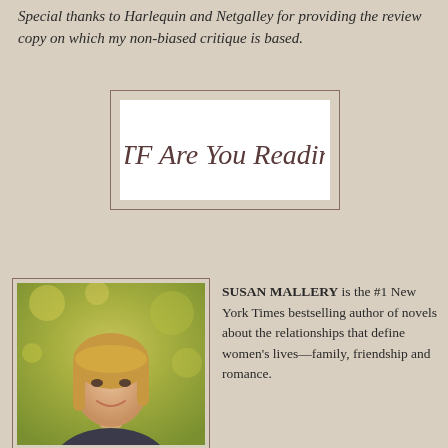Special thanks to Harlequin and Netgalley for providing the review copy on which my non-biased critique is based.
[Figure (logo): WTF Are You Reading - handwritten cursive script logo on white background with decorative border]
[Figure (photo): Portrait photo of Susan Mallery, a woman with blonde hair smiling, with a soft bokeh outdoor background]
SUSAN MALLERY is the #1 New York Times bestselling author of novels about the relationships that define women's lives—family, friendship and romance.